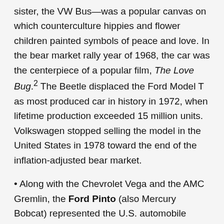sister, the VW Bus—was a popular canvas on which counterculture hippies and flower children painted symbols of peace and love. In the bear market rally year of 1968, the car was the centerpiece of a popular film, The Love Bug.2 The Beetle displaced the Ford Model T as most produced car in history in 1972, when lifetime production exceeded 15 million units. Volkswagen stopped selling the model in the United States in 1978 toward the end of the inflation-adjusted bear market.
• Along with the Chevrolet Vega and the AMC Gremlin, the Ford Pinto (also Mercury Bobcat) represented the U.S. automobile industry's contribution to the rising popularity of small imported cars during the early 1970s. The basic hatchback or coupe model had a wide, sloping rear-end, giving the back of the automobile a football-like shape. A wagon version of